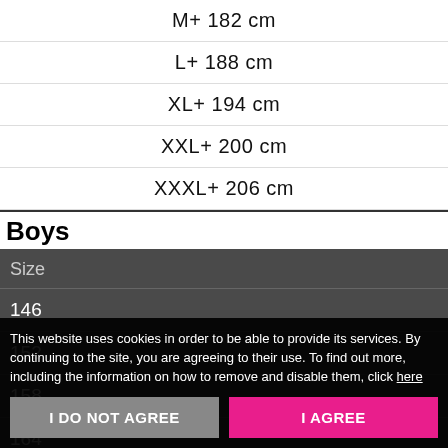| M+ 182 cm |
| L+ 188 cm |
| XL+ 194 cm |
| XXL+ 200 cm |
| XXXL+ 206 cm |
Boys
| Size |
| --- |
| 146 |
| 152 |
| 158 |
| 164 |
This website uses cookies in order to be able to provide its services. By continuing to the site, you are agreeing to their use. To find out more, including the information on how to remove and disable them, click here